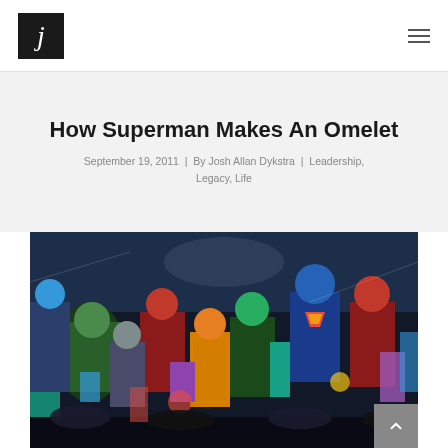j
How Superman Makes An Omelet
September 19, 2011  |  By Josh Allan Dykstra  |  Leadership, Legacy, Life
[Figure (illustration): Colorful comic book illustration showing a crowd of superhero characters including Superman and various DC Comics heroes in action poses]